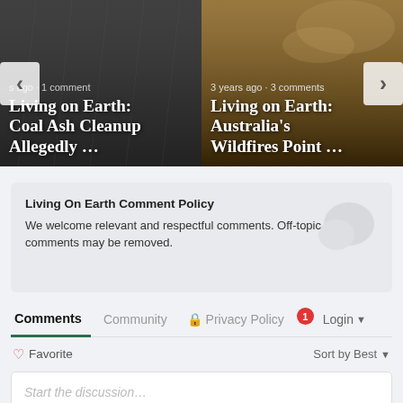[Figure (screenshot): Carousel of two article cards. Left: 'Living on Earth: Coal Ash Cleanup Allegedly ...' with 1 comment. Right: 'Living on Earth: Australia's Wildfires Point ...' with 3 years ago · 3 comments. Navigation arrows on left and right.]
Living on Earth: Coal Ash Cleanup Allegedly …
3 years ago · 3 comments
Living on Earth: Australia's Wildfires Point …
Living On Earth Comment Policy
We welcome relevant and respectful comments. Off-topic comments may be removed.
Comments  Community  🔒 Privacy Policy  1  Login
♡ Favorite
Sort by Best
Start the discussion…